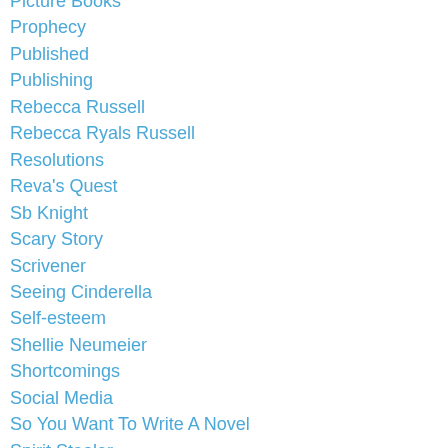Picture Books
Prophecy
Published
Publishing
Rebecca Russell
Rebecca Ryals Russell
Resolutions
Reva's Quest
Sb Knight
Scary Story
Scrivener
Seeing Cinderella
Self-esteem
Shellie Neumeier
Shortcomings
Social Media
So You Want To Write A Novel
Spirit Stealer
Stained Glass Summer
Sue Perkins